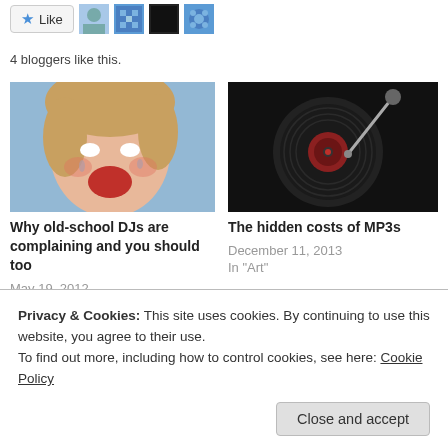[Figure (other): Like button with star icon and 4 blogger avatar thumbnails]
4 bloggers like this.
[Figure (photo): Photo of a crying child with blonde hair and open mouth]
Why old-school DJs are complaining and you should too
May 19, 2012
In "Art"
[Figure (photo): Photo of a vinyl record turntable from above, black background]
The hidden costs of MP3s
December 11, 2013
In "Art"
[Figure (photo): Partially visible black and white photo at bottom of page]
Privacy & Cookies: This site uses cookies. By continuing to use this website, you agree to their use.
To find out more, including how to control cookies, see here: Cookie Policy
Close and accept